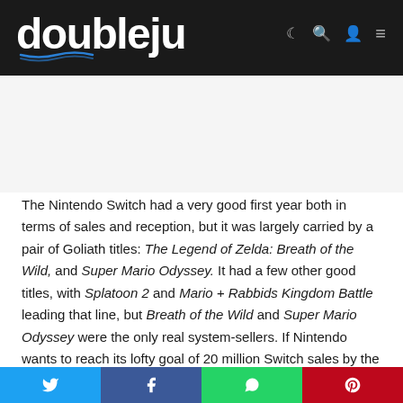doublejump
The Nintendo Switch had a very good first year both in terms of sales and reception, but it was largely carried by a pair of Goliath titles: The Legend of Zelda: Breath of the Wild, and Super Mario Odyssey. It had a few other good titles, with Splatoon 2 and Mario + Rabbids Kingdom Battle leading that line, but Breath of the Wild and Super Mario Odyssey were the only real system-sellers. If Nintendo wants to reach its lofty goal of 20 million Switch sales by the end of its fiscal
Social share bar: Twitter, Facebook, WhatsApp, Pinterest